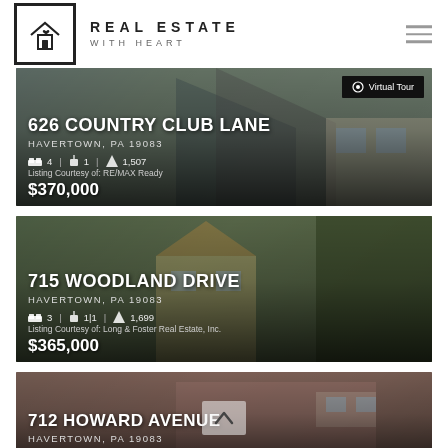REAL ESTATE WITH HEART
[Figure (screenshot): Listing card: 626 Country Club Lane, Havertown PA 19083, 4 bed, 1 bath, 1507 sqft, Listing Courtesy of: RE/MAX Ready, $370,000, Virtual Tour button]
[Figure (screenshot): Listing card: 715 Woodland Drive, Havertown PA 19083, 3 bed, 1|1 bath, 1699 sqft, Listing Courtesy of: Long & Foster Real Estate Inc., $365,000]
[Figure (screenshot): Listing card: 712 Howard Avenue, Havertown PA 19083, 3 bed, 1 bath, 700 sqft (partially visible, cropped)]